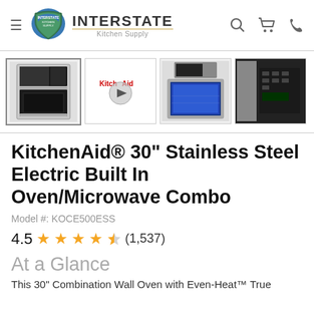INTERSTATE Kitchen Supply
[Figure (photo): Product image thumbnails: (1) KitchenAid stainless steel oven/microwave combo front view, (2) KitchenAid video thumbnail with play button, (3) Oven with blue interior open door, (4) Close-up of oven controls]
KitchenAid® 30" Stainless Steel Electric Built In Oven/Microwave Combo
Model #: KOCE500ESS
4.5 ★★★★½ (1,537)
At a Glance
This 30" Combination Wall Oven with Even-Heat™ True